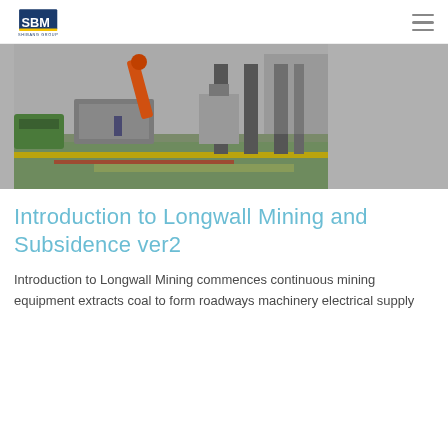SBM Shibang Group
[Figure (photo): Industrial mining facility interior showing heavy machinery, equipment, and a green painted floor with yellow and red striped markings. An orange crane arm and large industrial columns are visible.]
Introduction to Longwall Mining and Subsidence ver2
Introduction to Longwall Mining commences continuous mining equipment extracts coal to form roadways machinery electrical supply